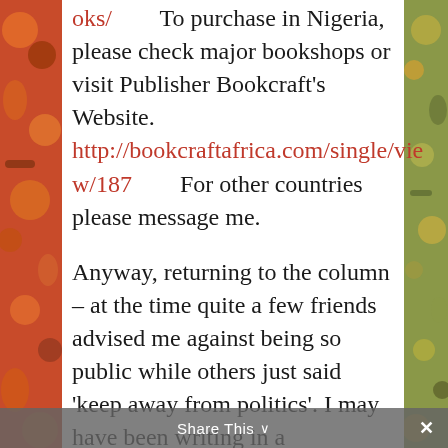oks/        To purchase in Nigeria, please check major bookshops or visit Publisher Bookcraft's Website. http://bookcraftafrica.com/single/view/187        For other countries please message me.
Anyway, returning to the column – at the time quite a few friends advised me against being so public while others just said 'keep away from politics'. I may have been writing in a predominantly business and economics publication but it was clearly impossible to avoid Nigeria's
Share This ∨